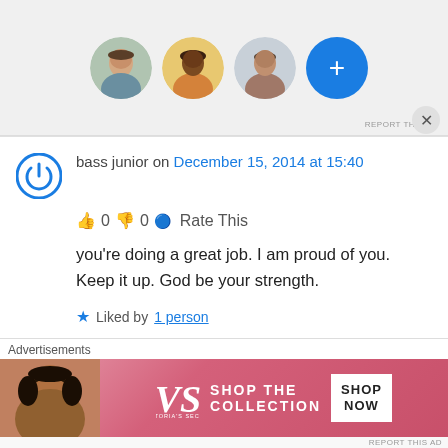[Figure (screenshot): Top advertisement banner with profile photos: woman with light skin, woman with dark skin, man, and a blue plus-circle button. 'REPORT THIS AD' text at bottom right.]
bass junior on December 15, 2014 at 15:40
👍 0 👎 0 🔵 Rate This
you're doing a great job. I am proud of you. Keep it up. God be your strength.
★ Liked by 1 person
↳ Reply
[Figure (screenshot): Victoria's Secret advertisement banner with a woman's photo, VS logo, 'SHOP THE COLLECTION' text, and 'SHOP NOW' button. 'Advertisements' label above.]